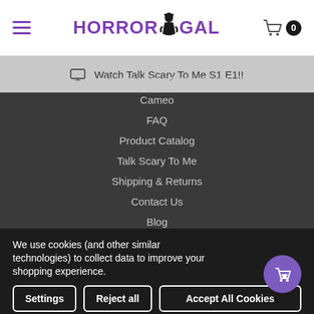HORRORGAL — Navigation header with hamburger menu and cart (0 items)
Watch Talk Scary To Me S1 E1!!
Appearances and Conventions
Cameo
FAQ
Product Catalog
Talk Scary To Me
Shipping & Returns
Contact Us
Blog
Sitemap
We use cookies (and other similar technologies) to collect data to improve your shopping experience.